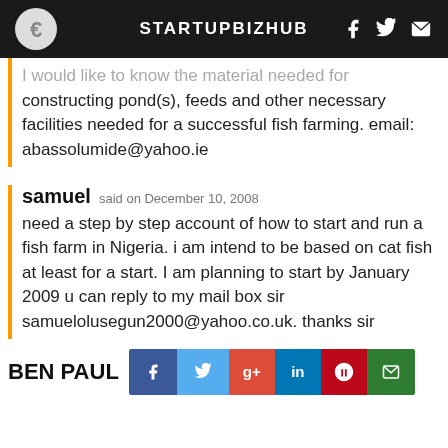STARTUPBIZHUB
I would like to know the material needed for constructing pond(s), feeds and other necessary facilities needed for a successful fish farming. email: abassolumide@yahoo.ie
samuel said on December 10, 2008
need a step by step account of how to start and run a fish farm in Nigeria. i am intend to be based on cat fish at least for a start. I am planning to start by January 2009 u can reply to my mail box sir samuelolusegun2000@yahoo.co.uk. thanks sir
BEN PAUL